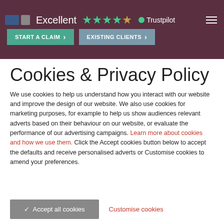[Figure (screenshot): Website header banner with dark maroon/purple background showing logo, Excellent rating with stars, Trustpilot text, hamburger menu, and two buttons: START A CLAIM and EXISTING CLIENTS]
Cookies & Privacy Policy
We use cookies to help us understand how you interact with our website and improve the design of our website. We also use cookies for marketing purposes, for example to help us show audiences relevant adverts based on their behaviour on our website, or evaluate the performance of our advertising campaigns. Learn more about cookies and how we use them. Click the Accept cookies button below to accept the defaults and receive personalised adverts or Customise cookies to amend your preferences.
✓ Accept all cookies
Customise cookies